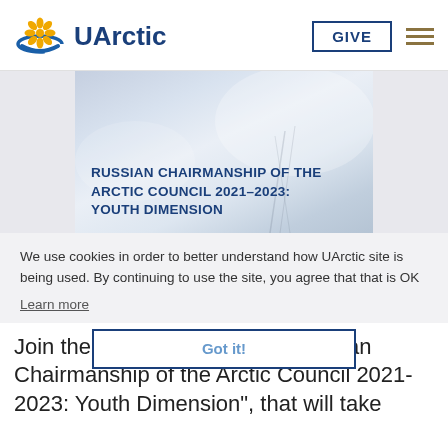UArctic
[Figure (photo): Banner image with arctic/winter landscape background and bold blue text: RUSSIAN CHAIRMANSHIP OF THE ARCTIC COUNCIL 2021-2023: YOUTH DIMENSION]
We use cookies in order to better understand how UArctic site is being used. By continuing to use the site, you agree that that is OK
Learn more
Got it!
Join the COP26 discussion "Russian Chairmanship of the Arctic Council 2021-2023: Youth Dimension", that will take